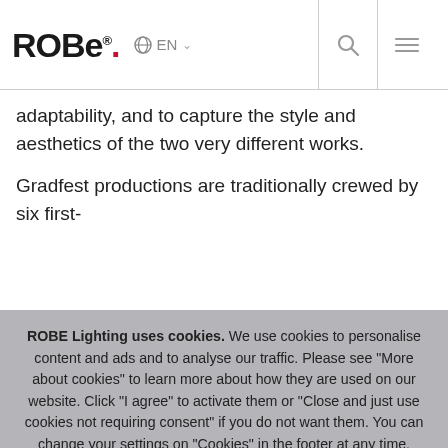ROBE® EN
adaptability, and to capture the style and aesthetics of the two very different works.
Gradfest productions are traditionally crewed by six first-
ROBE Lighting uses cookies. We use cookies to personalise content and ads and to analyse our traffic. Please see "More about cookies" to learn more about how they are used on our website. Click "I agree" to activate them or "Close and just use cookies not requiring consent" if you do not want them. You can change your settings on "Cookies" in the footer at any time.
I AGREE
More about cookies
Close and just use cookies not requiring consent